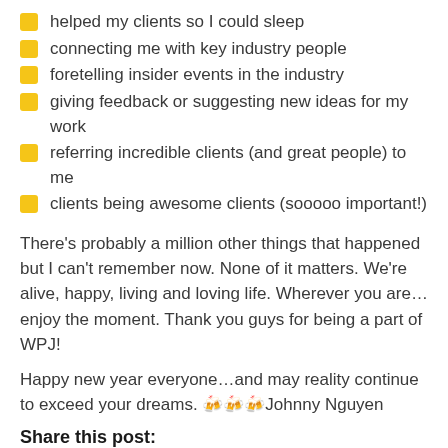helped my clients so I could sleep
connecting me with key industry people
foretelling insider events in the industry
giving feedback or suggesting new ideas for my work
referring incredible clients (and great people) to me
clients being awesome clients (sooooo important!)
There’s probably a million other things that happened but I can’t remember now. None of it matters. We’re alive, happy, living and loving life. Wherever you are…enjoy the moment. Thank you guys for being a part of WPJ!
Happy new year everyone…and may reality continue to exceed your dreams. 🍻🍻🍻Johnny Nguyen
Share this post:
FACEBOOK
TWITTER